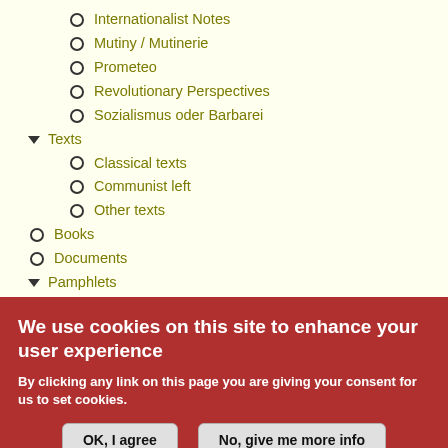Internationalist Notes
Mutiny / Mutinerie
Prometeo
Revolutionary Perspectives
Sozialismus oder Barbarei
Texts
Classical texts
Communist left
Other texts
Books
Documents
Pamphlets
Quaderni - Serie critica
Quaderni - Serie movimenti
Quaderni - Serie principi
Quaderni - Serie storica
We use cookies on this site to enhance your user experience
By clicking any link on this page you are giving your consent for us to set cookies.
OK, I agree
No, give me more info